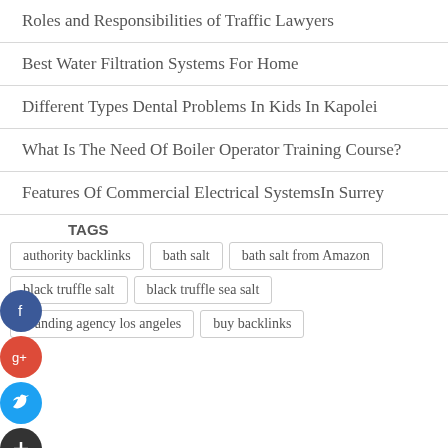Roles and Responsibilities of Traffic Lawyers
Best Water Filtration Systems For Home
Different Types Dental Problems In Kids In Kapolei
What Is The Need Of Boiler Operator Training Course?
Features Of Commercial Electrical SystemsIn Surrey
TAGS
authority backlinks
bath salt
bath salt from Amazon
black truffle salt
black truffle sea salt
branding agency los angeles
buy backlinks